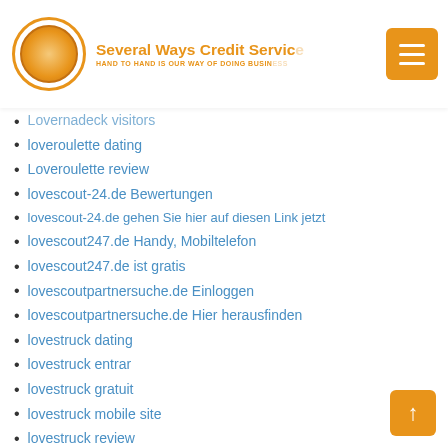Several Ways Credit Service — HAND TO HAND IS OUR WAY OF DOING BUSINESS
Lovermadeck visitors
loveroulette dating
Loveroulette review
lovescout-24.de Bewertungen
lovescout-24.de gehen Sie hier auf diesen Link jetzt
lovescout247.de Handy, Mobiltelefon
lovescout247.de ist gratis
lovescoutpartnersuche.de Einloggen
lovescoutpartnersuche.de Hier herausfinden
lovestruck dating
lovestruck entrar
lovestruck gratuit
lovestruck mobile site
lovestruck review
lovestruck visitors
lovoo dating
lovoo fr esperienze
lovoo mobile site
Lovoo reviews
lovoo username